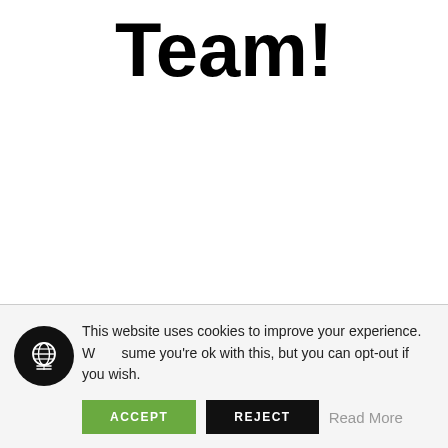Team!
We also offer live events, and the Libsyn podcast network. Our goal is to make podcasting advanced ...
This website uses cookies to improve your experience. We assume you're ok with this, but you can opt-out if you wish.
ACCEPT   REJECT   Read More